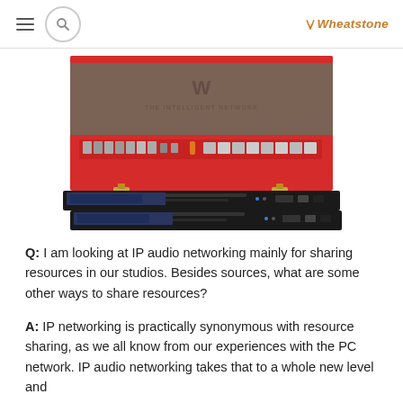Wheatstone - navigation bar with hamburger menu and search
[Figure (photo): A red metal toolbox open showing various tools and sockets inside, stacked on top of two black audio rack-mount units (Wheatstone IP audio networking equipment). A W logo with 'THE INTELLIGENT NETWORK' text is visible inside the toolbox lid.]
Q: I am looking at IP audio networking mainly for sharing resources in our studios. Besides sources, what are some other ways to share resources?
A: IP networking is practically synonymous with resource sharing, as we all know from our experiences with the PC network. IP audio networking takes that to a whole new level and